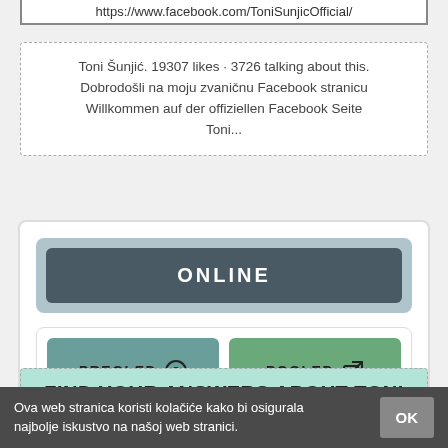https://www.facebook.com/ToniSunjicOfficial/
Toni Šunjić. 19307 likes · 3726 talking about this. Dobrodošli na moju zvaničnu Facebook stranicu Willkommen auf der offiziellen Facebook Seite Toni...
[Figure (screenshot): Widget panel showing ONLINE status button in dark blue-gray, and two action buttons: PREGLED (with eye icon) in teal and POGLED (with external link icon) in green]
FIND YOUR ANSWERS ABOUT TONI
Ova web stranica koristi kolačiće kako bi osigurala najbolje iskustvo na našoj web stranici.